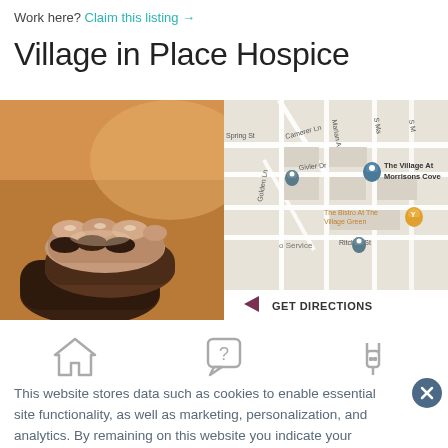Work here? Claim this listing →
Village in Place Hospice
[Figure (photo): Two sets of hands clasped together on an orange/warm background — a hospice/care themed photo]
[Figure (map): Google Maps snippet showing The Village At Morrisons Cove area with street labels (Camerer Ln, Marian Ave, Givler Dr, Golden Ln, Ritchey St, Spring St), map pins, The Bistro At The Village Green label, and a GET DIRECTIONS button at the bottom]
[Figure (illustration): Three icons: a house/home icon, a question mark speech bubble icon, and a fork+plug/service icon]
This website stores data such as cookies to enable essential site functionality, as well as marketing, personalization, and analytics. By remaining on this website you indicate your consent. Privacy Policy